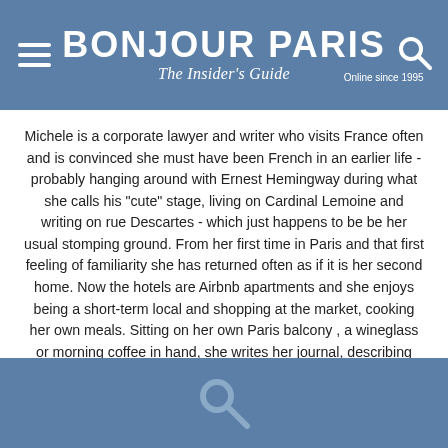BONJOUR PARIS — The Insider's Guide — Online since 1995
Michele is a corporate lawyer and writer who visits France often and is convinced she must have been French in an earlier life - probably hanging around with Ernest Hemingway during what she calls his "cute" stage, living on Cardinal Lemoine and writing on rue Descartes - which just happens to be be her usual stomping ground. From her first time in Paris and that first feeling of familiarity she has returned often as if it is her second home. Now the hotels are Airbnb apartments and she enjoys being a short-term local and shopping at the market, cooking her own meals. Sitting on her own Paris balcony , a wineglass or morning coffee in hand, she writes her journal, describing her walks around town as the proverbial flâneur and taking notes for the future's stories and travel pieces.
[Figure (other): Footer search bar area with search icon on blue background]